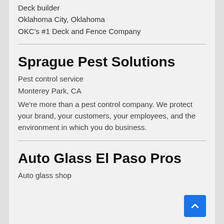Deck builder
Oklahoma City, Oklahoma
OKC's #1 Deck and Fence Company
Sprague Pest Solutions
Pest control service
Monterey Park, CA
We're more than a pest control company. We protect your brand, your customers, your employees, and the environment in which you do business.
Auto Glass El Paso Pros
Auto glass shop